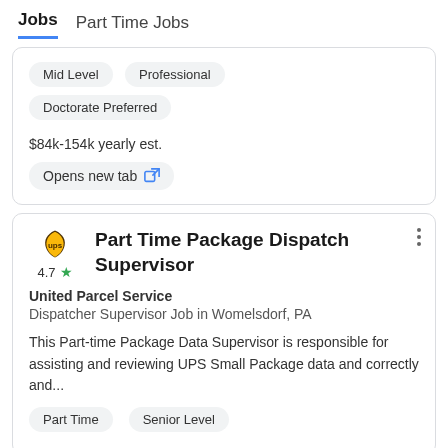Jobs   Part Time Jobs
Mid Level   Professional   Doctorate Preferred
$84k-154k yearly est.
Opens new tab
Part Time Package Dispatch Supervisor
United Parcel Service
Dispatcher Supervisor Job in Womelsdorf, PA
This Part-time Package Data Supervisor is responsible for assisting and reviewing UPS Small Package data and correctly and...
Part Time   Senior Level